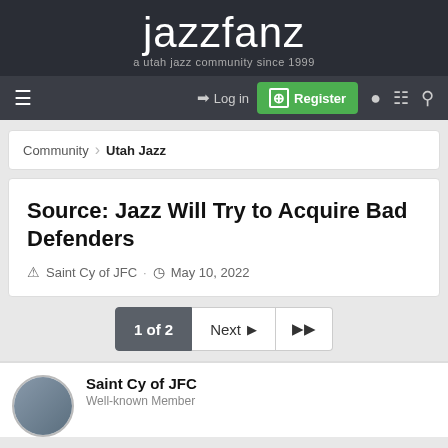jazzfanz — a utah jazz community since 1999
Log in | Register
Community > Utah Jazz
Source: Jazz Will Try to Acquire Bad Defenders
Saint Cy of JFC · May 10, 2022
1 of 2  Next  ▶▶
Saint Cy of JFC — Well-known Member